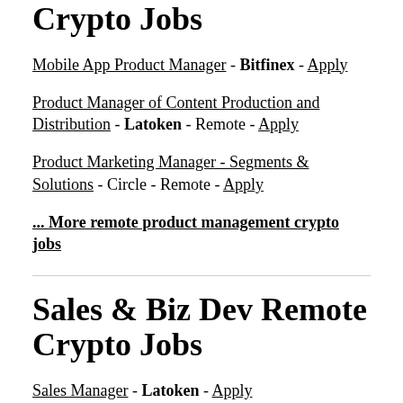Crypto Jobs
Mobile App Product Manager - Bitfinex - Apply
Product Manager of Content Production and Distribution - Latoken - Remote - Apply
Product Marketing Manager - Segments & Solutions - Circle - Remote - Apply
... More remote product management crypto jobs
Sales & Biz Dev Remote Crypto Jobs
Sales Manager - Latoken - Apply